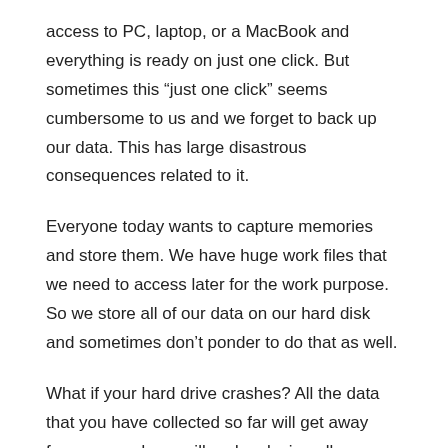access to PC, laptop, or a MacBook and everything is ready on just one click. But sometimes this “just one click” seems cumbersome to us and we forget to back up our data. This has large disastrous consequences related to it.
Everyone today wants to capture memories and store them. We have huge work files that we need to access later for the work purpose. So we store all of our data on our hard disk and sometimes don’t ponder to do that as well.
What if your hard drive crashes? All the data that you have collected so far will get away from you and you will end up losing all your important stuff be it pictures of your loved ones or your major official documents.
Wait. We know this thought must have scared you very much. This happened to me as well. All personal data vanished in seconds. But here we are presenting to you the solution to your all backup